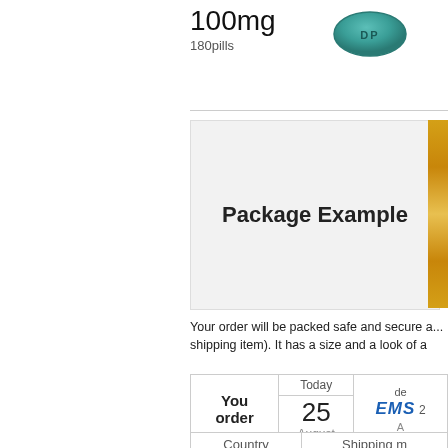100mg
180pills
[Figure (photo): A teal/green diamond-shaped pill with imprint]
Package Example
Your order will be packed safe and secure and dispatched within 24 hours. This is exactly how your parcel will look like (photos of a real shipping item). It has a size and a look of a
| You order | Today / 25 August | de / EMS / A |
| --- | --- | --- |
| Country | Shipping m |
| --- | --- |
| [US flag] |  |